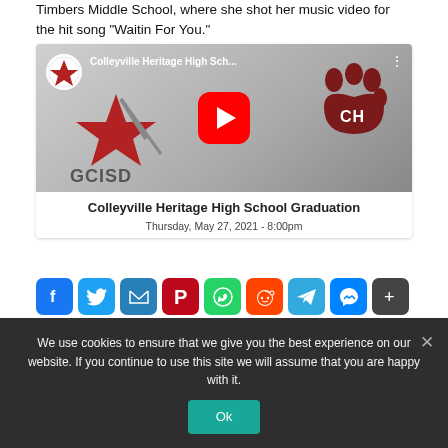Timbers Middle School, where she shot her music video for the hit song “Waitin For You.”
[Figure (screenshot): YouTube video thumbnail for Colleyville Heritage High School Graduation, Thursday, May 27, 2021 - 8:00pm. Shows GCISD logo, red star, paw print with CH, and red YouTube play button on gray background.]
[Figure (infographic): Social media sharing icons: Facebook, Twitter, Email, Pinterest, WhatsApp, Reddit, Telegram, Messenger, Share (plus)]
We use cookies to ensure that we give you the best experience on our website. If you continue to use this site we will assume that you are happy with it.